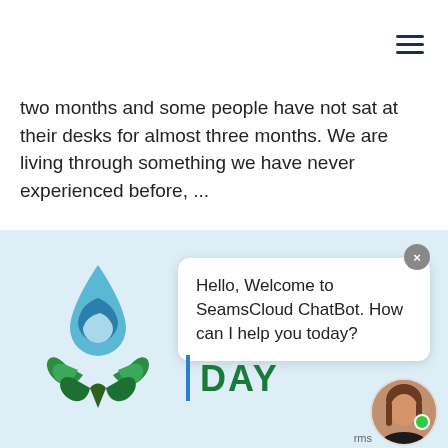[Figure (logo): SeamsCloud logo: crescent moon shapes in blue and orange]
two months and some people have not sat at their desks for almost three months. We are living through something we have never experienced before, ...
[Figure (illustration): Light blue background section with water drop and leaf eco logo, chatbot popup, DAY text, and avatar]
Hello, Welcome to SeamsCloud ChatBot. How can I help you today?